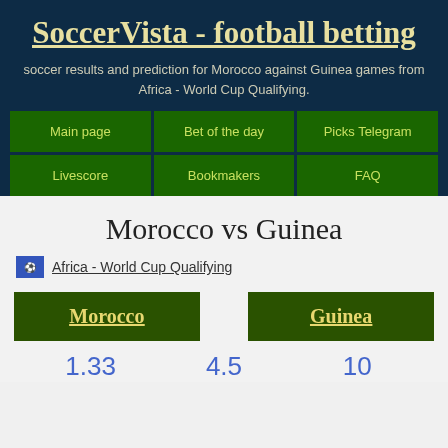SoccerVista - football betting
soccer results and prediction for Morocco against Guinea games from Africa - World Cup Qualifying.
Main page
Bet of the day
Picks Telegram
Livescore
Bookmakers
FAQ
Morocco vs Guinea
Africa - World Cup Qualifying
Morocco
Guinea
1.33  4.5  10